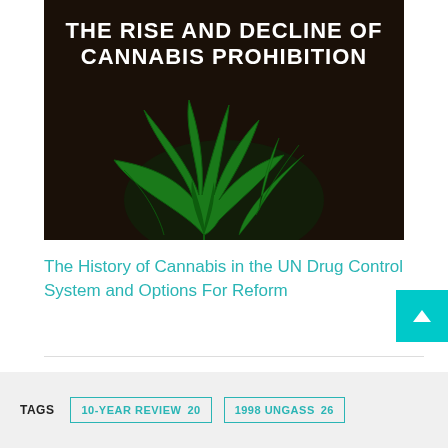[Figure (photo): Book cover for 'The Rise and Decline of Cannabis Prohibition' with dark background and green cannabis plant illustration. Subtitle: 'The History of Cannabis in the UN Drug Control System and Options for Reform']
The History of Cannabis in the UN Drug Control System and Options For Reform
TAGS  10-YEAR REVIEW 20  1998 UNGASS 26